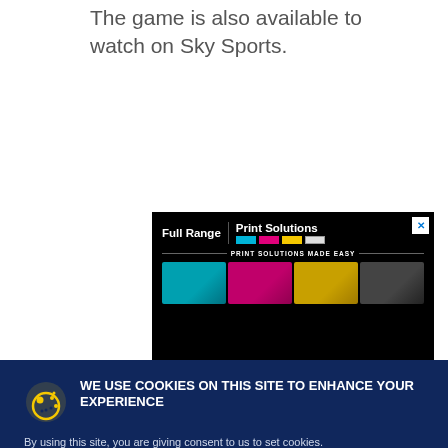The game is also available to watch on Sky Sports.
[Figure (advertisement): Black banner ad for Full Range Print Solutions showing colored ink cartridges (cyan, magenta, yellow, black) and the text 'PRINT SOLUTIONS MADE EASY']
WE USE COOKIES ON THIS SITE TO ENHANCE YOUR EXPERIENCE
By using this site, you are giving consent to us to set cookies.
Accept & Close